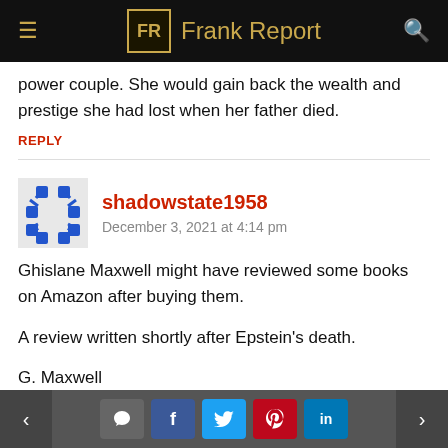Frank Report
power couple. She would gain back the wealth and prestige she had lost when her father died.
REPLY
shadowstate1958
December 3, 2021 at 4:14 pm
Ghislane Maxwell might have reviewed some books on Amazon after buying them.

A review written shortly after Epstein's death.

G. Maxwell
5.0 out of 5 stars A comforting read after a personal tragedy
< [comment] [f] [t] [p] [in] >